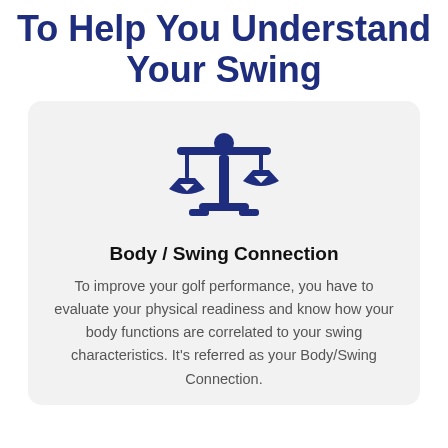To Help You Understand Your Swing
[Figure (illustration): Dark blue balance/scales of justice icon]
Body / Swing Connection
To improve your golf performance, you have to evaluate your physical readiness and know how your body functions are correlated to your swing characteristics. It's referred as your Body/Swing Connection.